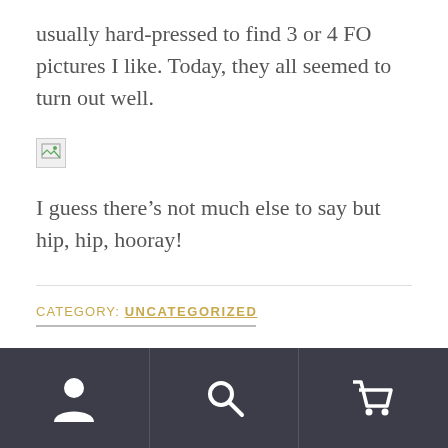usually hard-pressed to find 3 or 4 FO pictures I like. Today, they all seemed to turn out well.
[Figure (photo): Broken/missing image placeholder icon (small thumbnail with broken image indicator)]
I guess there’s not much else to say but hip, hip, hooray!
CATEGORY: UNCATEGORIZED
Navigation bar with user icon, search icon, and cart icon